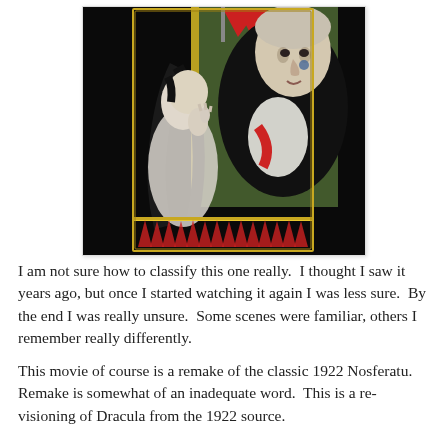[Figure (illustration): Artistic illustration/poster image of Nosferatu — a pale vampire figure looming behind a woman with dark hair, both shown in dramatic theatrical style with red accents and dark background. Red pennant visible at top. Decorative border elements at bottom.]
I am not sure how to classify this one really.  I thought I saw it years ago, but once I started watching it again I was less sure.  By the end I was really unsure.  Some scenes were familiar, others I remember really differently.
This movie of course is a remake of the classic 1922 Nosferatu.  Remake is somewhat of an inadequate word.  This is a re-visioning of Dracula from the 1922 source.